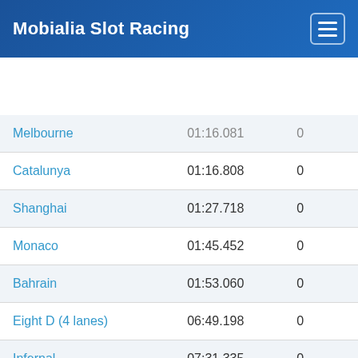Mobialia Slot Racing
| Track | Time | Score |
| --- | --- | --- |
| Melbourne | 01:16.081 | 0 |
| Catalunya | 01:16.808 | 0 |
| Shanghai | 01:27.718 | 0 |
| Monaco | 01:45.452 | 0 |
| Bahrain | 01:53.060 | 0 |
| Eight D (4 lanes) | 06:49.198 | 0 |
| Infernal | 07:31.335 | 0 |
| Full Speed | 07:46.385 | 0 |
| extreme | 07:55.580 | 0 |
| Laberinto espiral | 08:13.814 | 0 |